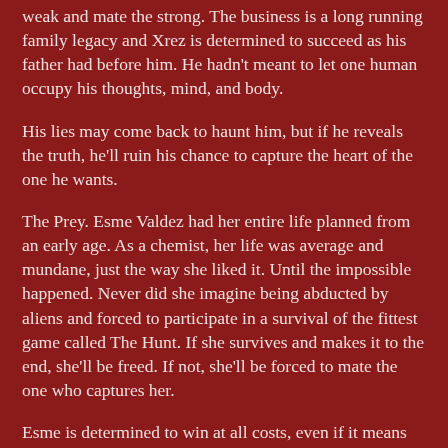weak and mate the strong. The business is a long running family legacy and Xrez is determined to succeed as his father had before him. He hadn’t meant to let one human occupy his thoughts, mind, and body.
His lies may come back to haunt him, but if he reveals the truth, he’ll ruin his chance to capture the heart of the one he wants.
The Prey. Esme Valdez had her entire life planned from an early age. As a chemist, her life was average and mundane, just the way she liked it. Until the impossible happened. Never did she imagine being abducted by aliens and forced to participate in a survival of the fittest game called The Hunt. If she survives and makes it to the end, she’ll be freed. If not, she’ll be forced to mate the one who captures her.
Esme is determined to win at all costs, even if it means putting her trust in a sexy alien who taunts her in the most delectable way.
Their love was built on betrayal. Can she trust him with her heart and life?